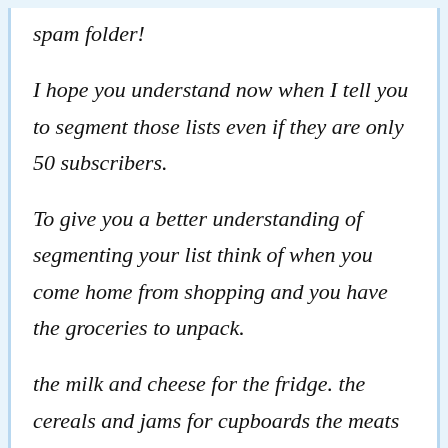spam folder!
I hope you understand now when I tell you to segment those lists even if they are only 50 subscribers.
To give you a better understanding of segmenting your list think of when you come home from shopping and you have the groceries to unpack.
the milk and cheese for the fridge. the cereals and jams for cupboards the meats for the freezer. you get